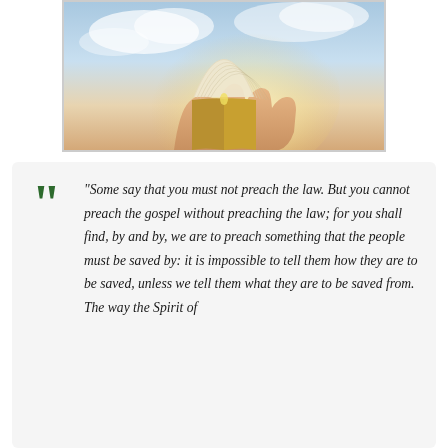[Figure (photo): Hands holding open a book raised up toward a bright sky with clouds, pages fanning open dramatically]
“Some say that you must not preach the law. But you cannot preach the gospel without preaching the law; for you shall find, by and by, we are to preach something that the people must be saved by: it is impossible to tell them how they are to be saved, unless we tell them what they are to be saved from. The way the Spirit of